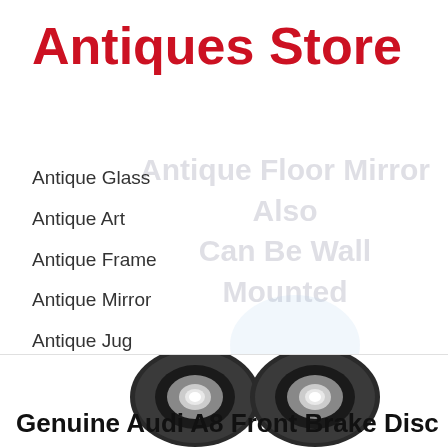Antiques Store
Antique Glass
Antique Art
Antique Frame
Antique Mirror
Antique Jug
Antique Painting
[Figure (photo): Two Genuine Audi A8 Front Brake Discs side by side]
Genuine Audi A8 Front Brake Disc